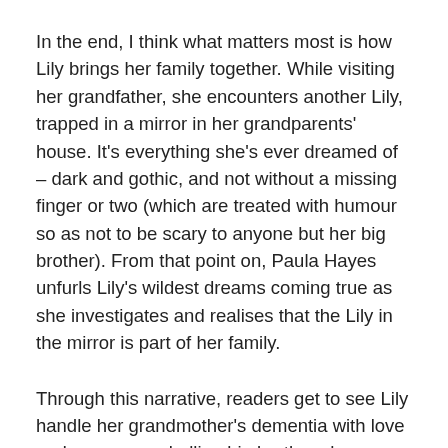In the end, I think what matters most is how Lily brings her family together. While visiting her grandfather, she encounters another Lily, trapped in a mirror in her grandparents' house. It's everything she's ever dreamed of – dark and gothic, and not without a missing finger or two (which are treated with humour so as not to be scary to anyone but her big brother). From that point on, Paula Hayes unfurls Lily's wildest dreams coming true as she investigates and realises that the Lily in the mirror is part of her family.
Through this narrative, readers get to see Lily handle her grandmother's dementia with love and care, see a bulling big brother change and more importantly see grandparents as a big part of the story. Too often it's easy to give parents and grandparents the barest of characterisations and while Lily's parents are not a big part of this story, her grandparents are. They are presented as realised characters, with lives and loves